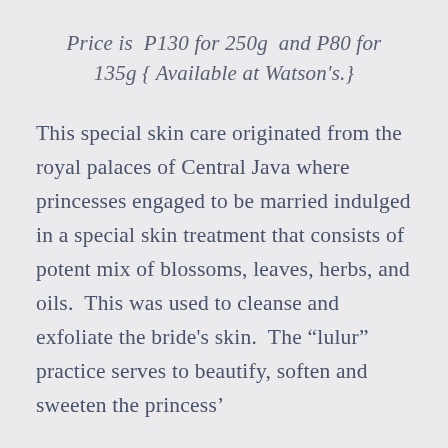Price is P130 for 250g and P80 for 135g { Available at Watson's.}
This special skin care originated from the royal palaces of Central Java where princesses engaged to be married indulged in a special skin treatment that consists of potent mix of blossoms, leaves, herbs, and oils.  This was used to cleanse and exfoliate the bride's skin.  The “lulur” practice serves to beautify, soften and sweeten the princess’ skin right before the day of…